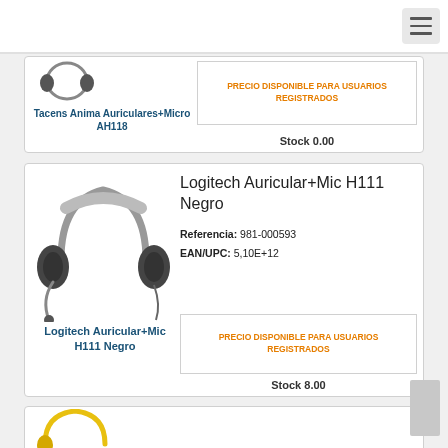Navigation bar with hamburger menu
Tacens Anima Auriculares+Micro AH118
PRECIO DISPONIBLE PARA USUARIOS REGISTRADOS
Stock 0.00
[Figure (photo): Logitech H111 Negro headset product photo]
Logitech Auricular+Mic H111 Negro
Referencia: 981-000593
EAN/UPC: 5,10E+12
PRECIO DISPONIBLE PARA USUARIOS REGISTRADOS
Stock 8.00